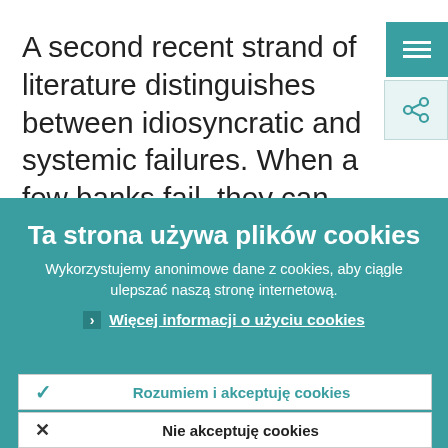A second recent strand of literature distinguishes between idiosyncratic and systemic failures. When a few banks fail, they can be acquired by other banks. As the
[Figure (screenshot): Teal hamburger menu button (top right)]
[Figure (screenshot): Share icon button with network/share symbol]
Ta strona używa plików cookies
Wykorzystujemy anonimowe dane z cookies, aby ciągle ulepszać naszą stronę internetową.
› Więcej informacji o użyciu cookies
✓  Rozumiem i akceptuję cookies
✕  Nie akceptuję cookies